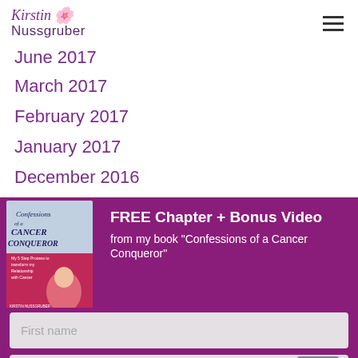Kirstin Nussgruber
June 2017
March 2017
February 2017
January 2017
December 2016
[Figure (photo): Book cover of 'Confessions of a Cancer Conqueror' with author photo]
FREE Chapter + Bonus Video from my book “Confessions of a Cancer Conqueror”
First name
Email address
CLICK to GET